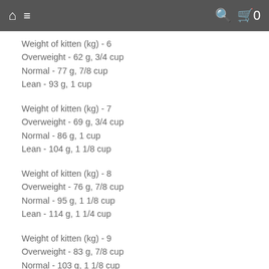🏠 ≡   🔍 🛒 0
Weight of kitten (kg) - 6
Overweight - 62 g, 3/4 cup
Normal - 77 g, 7/8 cup
Lean - 93 g, 1 cup
Weight of kitten (kg) - 7
Overweight - 69 g, 3/4 cup
Normal - 86 g, 1 cup
Lean - 104 g, 1 1/8 cup
Weight of kitten (kg) - 8
Overweight - 76 g, 7/8 cup
Normal - 95 g, 1 1/8 cup
Lean - 114 g, 1 1/4 cup
Weight of kitten (kg) - 9
Overweight - 83 g, 7/8 cup
Normal - 103 g, 1 1/8 cup